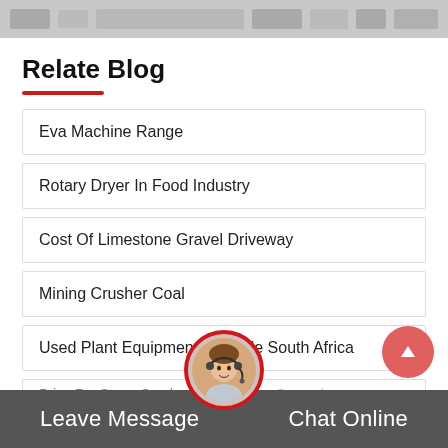[website navigation header bar]
Relate Blog
Eva Machine Range
Rotary Dryer In Food Industry
Cost Of Limestone Gravel Driveway
Mining Crusher Coal
Used Plant Equipment For Sale South Africa
Price For Stone Crusher Machine Per Second
Leave Message   Chat Online